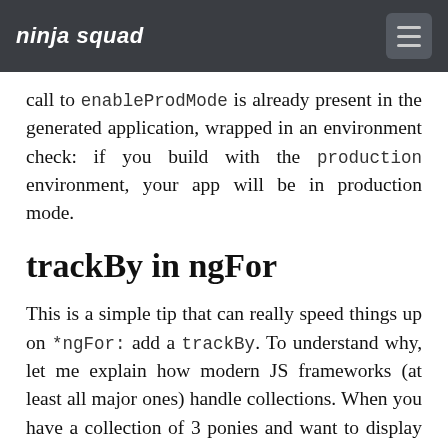ninja squad
call to enableProdMode is already present in the generated application, wrapped in an environment check: if you build with the production environment, your app will be in production mode.
trackBy in ngFor
This is a simple tip that can really speed things up on *ngFor: add a trackBy. To understand why, let me explain how modern JS frameworks (at least all major ones) handle collections. When you have a collection of 3 ponies and want to display them in a list